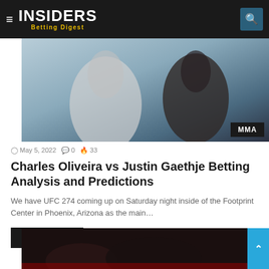INSIDERS Betting Digest
[Figure (photo): MMA fighters in action with MMA badge overlay]
May 5, 2022  0  33
Charles Oliveira vs Justin Gaethje Betting Analysis and Predictions
We have UFC 274 coming up on Saturday night inside of the Footprint Center in Phoenix, Arizona as the main…
Read More »
[Figure (photo): Second article image at bottom of page]